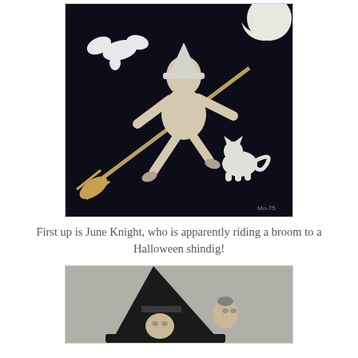[Figure (photo): Vintage black-and-white Halloween photo of actress June Knight posing as a witch riding a broomstick against a dark background, with decorative white bat silhouettes, a full moon, and a white cat cutout.]
First up is June Knight, who is apparently riding a broom to a Halloween shindig!
[Figure (photo): Vintage black-and-white Halloween photo showing a woman wearing a large witch hat, partially visible at bottom of page.]